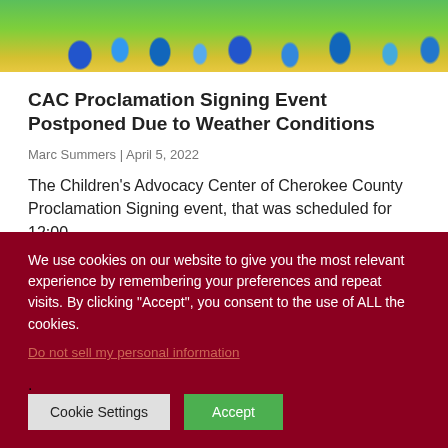[Figure (photo): Photo strip showing blue decorative flowers against a yellow-green outdoor background]
CAC Proclamation Signing Event Postponed Due to Weather Conditions
Marc Summers | April 5, 2022
The Children's Advocacy Center of Cherokee County Proclamation Signing event, that was scheduled for 12:00
Read More
We use cookies on our website to give you the most relevant experience by remembering your preferences and repeat visits. By clicking “Accept”, you consent to the use of ALL the cookies.
Do not sell my personal information.
Cookie Settings
Accept